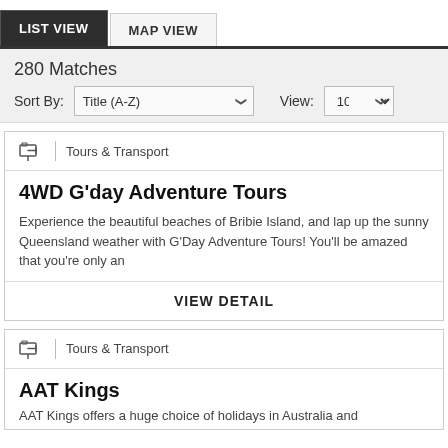LIST VIEW | MAP VIEW
280 Matches
Sort By: Title (A-Z)   View: 10
Tours & Transport
4WD G'day Adventure Tours
Experience the beautiful beaches of Bribie Island, and lap up the sunny Queensland weather with G'Day Adventure Tours! You'll be amazed that you're only an
VIEW DETAIL
Tours & Transport
AAT Kings
AAT Kings offers a huge choice of holidays in Australia and